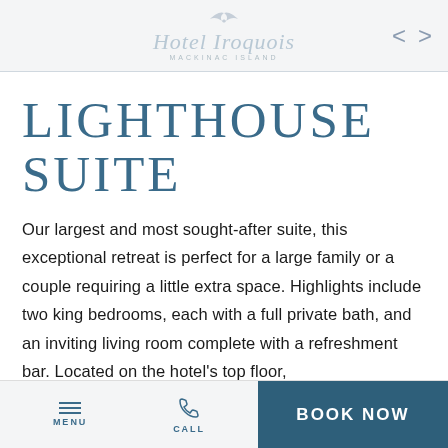Hotel Iroquois MACKINAC ISLAND
LIGHTHOUSE SUITE
Our largest and most sought-after suite, this exceptional retreat is perfect for a large family or a couple requiring a little extra space. Highlights include two king bedrooms, each with a full private bath, and an inviting living room complete with a refreshment bar. Located on the hotel's top floor,
MENU  CALL  BOOK NOW